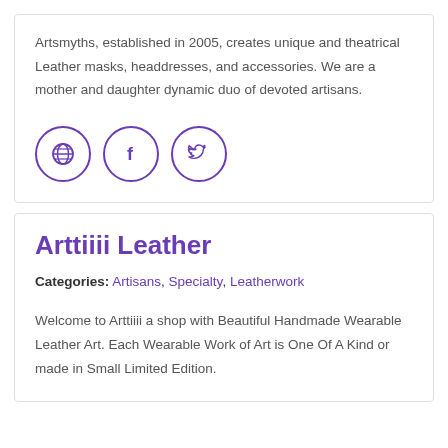Artsmyths, established in 2005, creates unique and theatrical Leather masks, headdresses, and accessories. We are a mother and daughter dynamic duo of devoted artisans.
[Figure (other): Three purple-outlined circle icons: globe/website icon, Facebook 'f' icon, Twitter bird icon]
Arttiiii Leather
Categories: Artisans, Specialty, Leatherwork
Welcome to Arttiiii a shop with Beautiful Handmade Wearable Leather Art. Each Wearable Work of Art is One Of A Kind or made in Small Limited Edition.